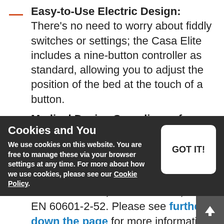Easy-to-Use Electric Design: There's no need to worry about fiddly switches or settings; the Casa Elite includes a nine-button controller as standard, allowing you to adjust the position of the bed at the touch of a button.
Medical Device Compliance for Peace of Mind: Offering assurance that your loved one will be spending time in a quality certified bed, the Casa Elite products are complaint to EN 60601-1-11, EN 60601-1-1, and EN 60601-2-52. Please see further down the page for more information about what these standards mean.
Cookies and You
We use cookies on this website. You are free to manage these via your browser settings at any time. For more about how we use cookies, please see our Cookie Policy.